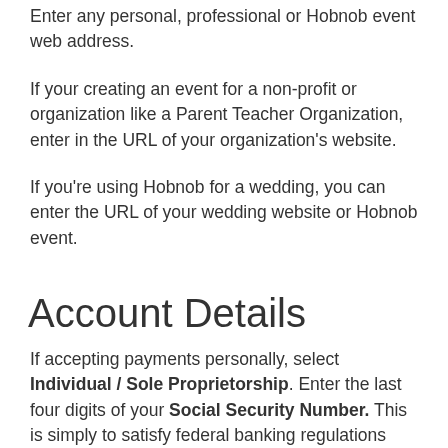Enter any personal, professional or Hobnob event web address.
If your creating an event for a non-profit or organization like a Parent Teacher Organization, enter in the URL of your organization's website.
If you're using Hobnob for a wedding, you can enter the URL of your wedding website or Hobnob event.
Account Details
If accepting payments personally, select Individual / Sole Proprietorship. Enter the last four digits of your Social Security Number. This is simply to satisfy federal banking regulations and is verified securely through Stripe.